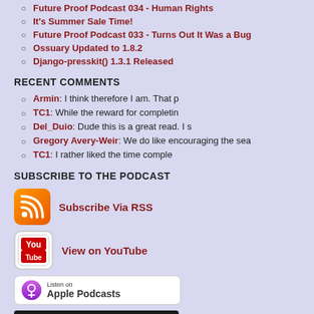Future Proof Podcast 034 - Human Rights
It's Summer Sale Time!
Future Proof Podcast 033 - Turns Out It Was a Bug
Ossuary Updated to 1.8.2
Django-presskit() 1.3.1 Released
RECENT COMMENTS
Armin: I think therefore I am. That p
TC1: While the reward for completin
Del_Duio: Dude this is a great read. I s
Gregory Avery-Weir: We do like encouraging the sea
TC1: I rather liked the time comple
SUBSCRIBE TO THE PODCAST
Subscribe Via RSS
View on YouTube
[Figure (logo): Listen on Apple Podcasts badge]
[Figure (logo): Stitcher Radio On Demand - Hear Us On STITCHER, Get It Now button]